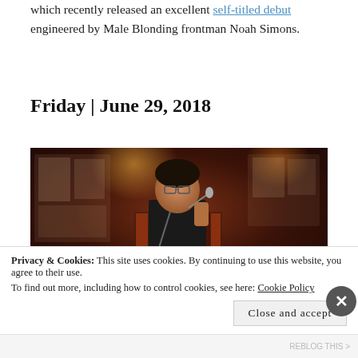which recently released an excellent self-titled debut engineered by Male Blonding frontman Noah Simons.
Friday | June 29, 2018
[Figure (photo): A performer on stage in a dark music venue, singing into a microphone and holding a white keyboard instrument, with posters and shelves visible in the background.]
Privacy & Cookies: This site uses cookies. By continuing to use this website, you agree to their use.
To find out more, including how to control cookies, see here: Cookie Policy
Close and accept